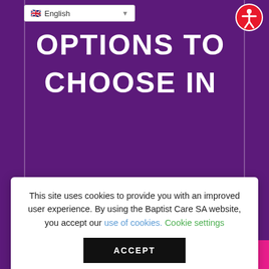English (language selector)
OPTIONS TO CHOOSE IN
This site uses cookies to provide you with an improved user experience. By using the Baptist Care SA website, you accept our use of cookies. Cookie settings
ACCEPT
Read more
TOP